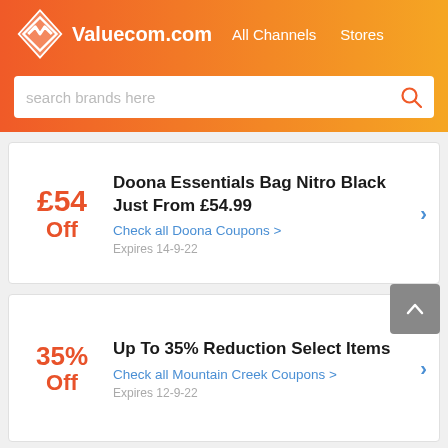Valuecom.com  All Channels  Stores
search brands here
£54 Off — Doona Essentials Bag Nitro Black Just From £54.99
Check all Doona Coupons >
Expires 14-9-22
35% Off — Up To 35% Reduction Select Items
Check all Mountain Creek Coupons >
Expires 12-9-22